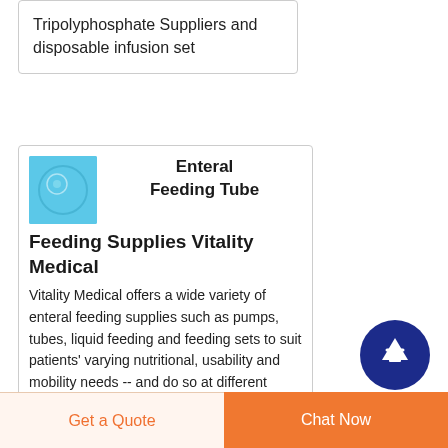Tripolyphosphate Suppliers and disposable infusion set
Enteral Feeding Tube Feeding Supplies Vitality Medical
Vitality Medical offers a wide variety of enteral feeding supplies such as pumps, tubes, liquid feeding and feeding sets to suit patients' varying nutritional, usability and mobility needs -- and do so at different prices to suit
[Figure (illustration): Blue square thumbnail image with a faint circular design, representing a medical product image for Enteral Feeding Tube Feeding Supplies from Vitality Medical]
[Figure (other): Dark navy blue circular button with an upward pointing arrow (scroll to top button)]
Get a Quote
Chat Now